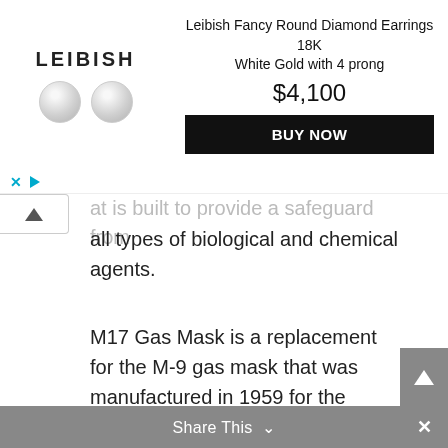[Figure (other): Leibish advertisement banner showing two round diamond earrings, brand name LEIBISH, product title 'Leibish Fancy Round Diamond Earrings 18K White Gold with 4 prong', price $4,100, and a black BUY NOW button]
…at is built to provide a safeguard from all types of biological and chemical agents.
M17 Gas Mask is a replacement for the M-9 gas mask that was manufactured in 1959 for the Vietnam war to standard use for the U.S. Military.
2. Soviet ShMS Gas Mask
Share This  ×